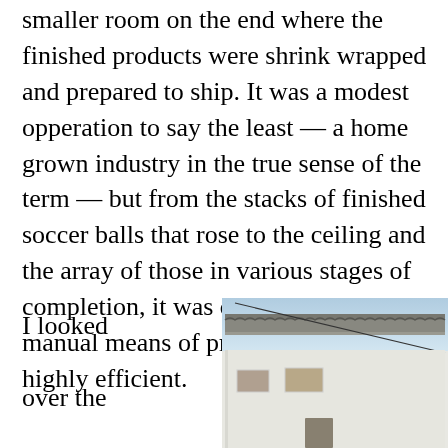smaller room on the end where the finished products were shrink wrapped and prepared to ship. It was a modest opperation to say the least — a home grown industry in the true sense of the term — but from the stacks of finished soccer balls that rose to the ceiling and the array of those in various stages of completion, it was clear that these manual means of production were highly efficient.
I looked over the hundreds of half
[Figure (photo): Exterior of a white plastered building with a tiled roof visible at the top, two small rectangular windows on the facade, and a blue sky with clouds in the background. Power line visible crossing the sky diagonally.]